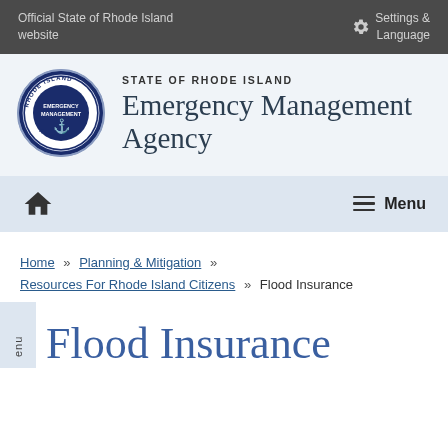Official State of Rhode Island website
Settings & Language
[Figure (logo): Rhode Island Emergency Management Agency official seal — circular blue and white seal with anchor and text]
STATE OF RHODE ISLAND Emergency Management Agency
[Figure (other): Navigation bar with home icon and Menu button]
Home » Planning & Mitigation » Resources For Rhode Island Citizens » Flood Insurance
Flood Insurance